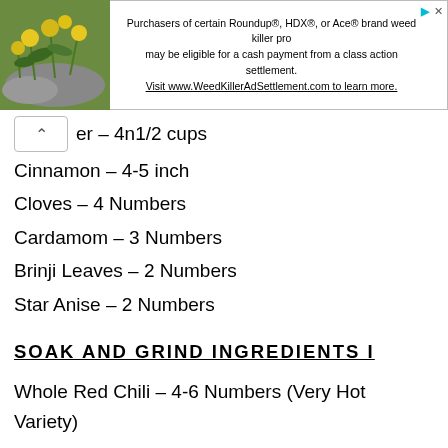[Figure (other): Advertisement banner with a photo of yellow flowers on the left and text about Roundup/HDX/Ace brand weed killer class action settlement on the right.]
er – 4n1/2 cups
Cinnamon – 4-5 inch
Cloves – 4 Numbers
Cardamom – 3 Numbers
Brinji Leaves – 2 Numbers
Star Anise – 2 Numbers
SOAK AND GRIND INGREDIENTS I
Whole Red Chili – 4-6 Numbers (Very Hot Variety)
Fennel/Sombu – 1tsp
* If Using Fresh Ginger and Garlic then grind it with above chili and fennel seeds, I Do So).